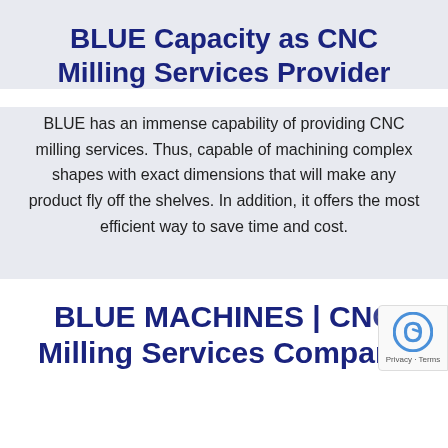BLUE Capacity as CNC Milling Services Provider
BLUE has an immense capability of providing CNC milling services. Thus, capable of machining complex shapes with exact dimensions that will make any product fly off the shelves. In addition, it offers the most efficient way to save time and cost.
BLUE MACHINES | CNC Milling Services Company